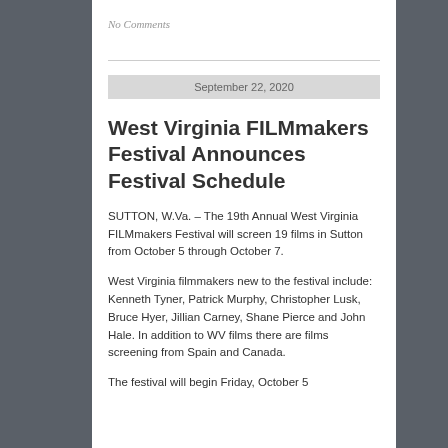No Comments
West Virginia FILMmakers Festival Announces Festival Schedule
SUTTON, W.Va. – The 19th Annual West Virginia FILMmakers Festival will screen 19 films in Sutton from October 5 through October 7.
West Virginia filmmakers new to the festival include: Kenneth Tyner, Patrick Murphy, Christopher Lusk, Bruce Hyer, Jillian Carney, Shane Pierce and John Hale. In addition to WV films there are films screening from Spain and Canada.
The festival will begin Friday, October 5